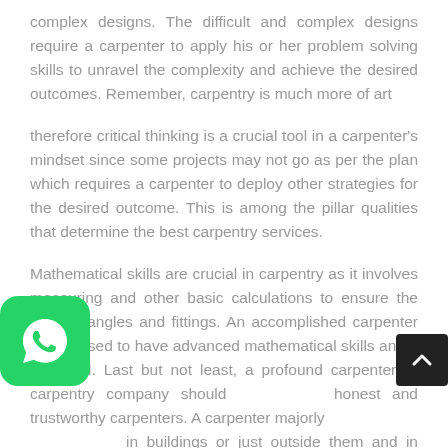complex designs. The difficult and complex designs require a carpenter to apply his or her problem solving skills to unravel the complexity and achieve the desired outcomes. Remember, carpentry is much more of art
therefore critical thinking is a crucial tool in a carpenter's mindset since some projects may not go as per the plan which requires a carpenter to deploy other strategies for the desired outcome. This is among the pillar qualities that determine the best carpentry services.
Mathematical skills are crucial in carpentry as it involves measuring and other basic calculations to ensure the desired angles and fittings. An accomplished carpenter is supposed to have advanced mathematical skills and a kin mind. Last but not least, a profound carpenter or carpentry company should honest and trustworthy carpenters. A carpenter majorly in buildings or just outside them and in compou... This buildings are homes and offices which requires a